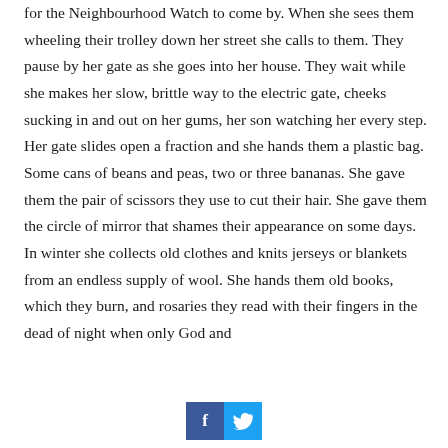for the Neighbourhood Watch to come by. When she sees them wheeling their trolley down her street she calls to them. They pause by her gate as she goes into her house. They wait while she makes her slow, brittle way to the electric gate, cheeks sucking in and out on her gums, her son watching her every step. Her gate slides open a fraction and she hands them a plastic bag. Some cans of beans and peas, two or three bananas. She gave them the pair of scissors they use to cut their hair. She gave them the circle of mirror that shames their appearance on some days. In winter she collects old clothes and knits jerseys or blankets from an endless supply of wool. She hands them old books, which they burn, and rosaries they read with their fingers in the dead of night when only God and
[Figure (other): Social media share buttons: Facebook (blue, 'f') and Twitter (light blue, bird icon)]